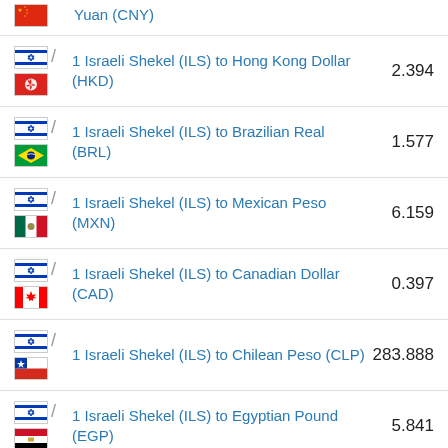1 Israeli Shekel (ILS) to Hong Kong Dollar (HKD) 2.394
1 Israeli Shekel (ILS) to Brazilian Real (BRL) 1.577
1 Israeli Shekel (ILS) to Mexican Peso (MXN) 6.159
1 Israeli Shekel (ILS) to Canadian Dollar (CAD) 0.397
1 Israeli Shekel (ILS) to Chilean Peso (CLP) 283.888
1 Israeli Shekel (ILS) to Egyptian Pound (EGP) 5.841
1 Israeli Shekel (ILS) to New Zealand Dollar (NZD) 0.494